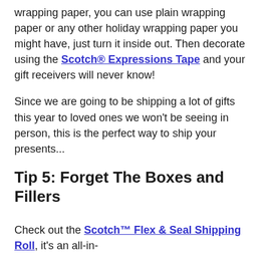wrapping paper, you can use plain wrapping paper or any other holiday wrapping paper you might have, just turn it inside out. Then decorate using the Scotch® Expressions Tape and your gift receivers will never know!
Since we are going to be shipping a lot of gifts this year to loved ones we won't be seeing in person, this is the perfect way to ship your presents...
Tip 5: Forget The Boxes and Fillers
Check out the Scotch™ Flex & Seal Shipping Roll, it's an all-in-